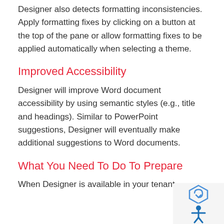Designer also detects formatting inconsistencies. Apply formatting fixes by clicking on a button at the top of the pane or allow formatting fixes to be applied automatically when selecting a theme.
Improved Accessibility
Designer will improve Word document accessibility by using semantic styles (e.g., title and headings). Similar to PowerPoint suggestions, Designer will eventually make additional suggestions to Word documents.
What You Need To Do To Prepare
When Designer is available in your tenant,